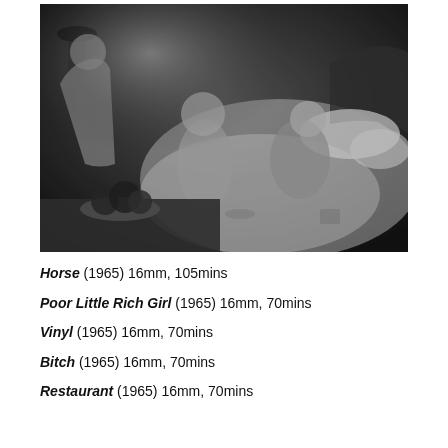[Figure (photo): Black and white photograph showing people on a bed in a room, one person standing at left, two reclining on the bed, with a table in foreground holding fruit bowl and other items.]
Horse (1965) 16mm, 105mins
Poor Little Rich Girl (1965) 16mm, 70mins
Vinyl (1965) 16mm, 70mins
Bitch (1965) 16mm, 70mins
Restaurant (1965) 16mm, 70mins